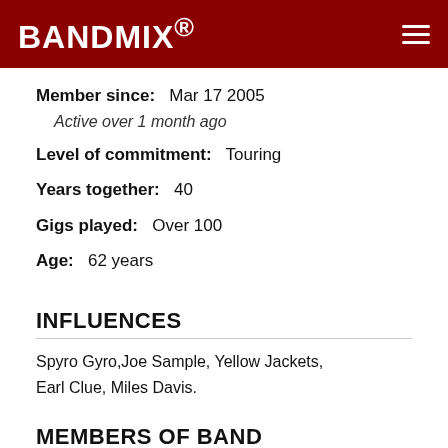BANDMIX®
Member since:   Mar 17 2005
Active over 1 month ago
Level of commitment:   Touring
Years together:  40
Gigs played:   Over 100
Age:  62 years
INFLUENCES
Spyro Gyro,Joe Sample, Yellow Jackets, Earl Clue, Miles Davis.
MEMBERS OF BAND